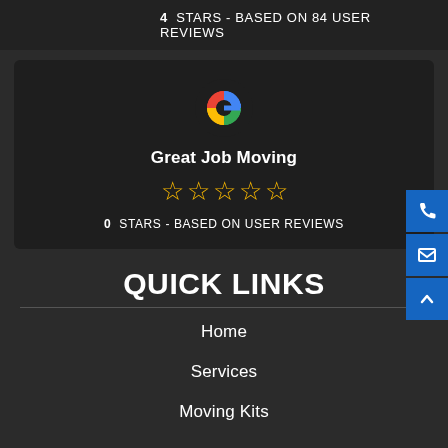4 STARS - BASED ON 84 USER REVIEWS
[Figure (logo): Google logo - colourful G]
Great Job Moving
[Figure (infographic): 5 star rating displayed as hollow gold stars]
0 STARS - BASED ON USER REVIEWS
QUICK LINKS
Home
Services
Moving Kits